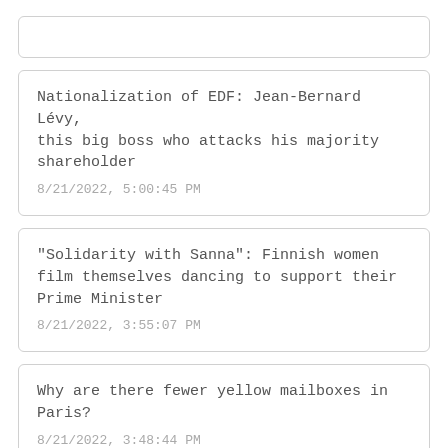Nationalization of EDF: Jean-Bernard Lévy, this big boss who attacks his majority shareholder
8/21/2022, 5:00:45 PM
"Solidarity with Sanna": Finnish women film themselves dancing to support their Prime Minister
8/21/2022, 3:55:07 PM
Why are there fewer yellow mailboxes in Paris?
8/21/2022, 3:48:44 PM
Garden column: The amphibian needs a pond